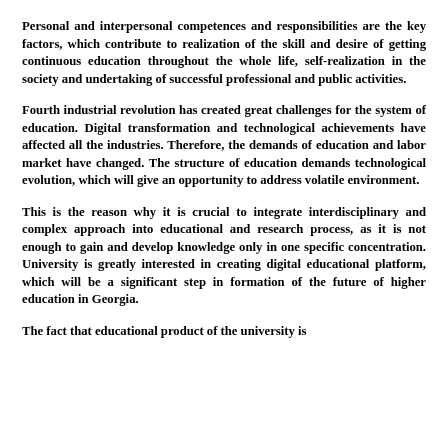Personal and interpersonal competences and responsibilities are the key factors, which contribute to realization of the skill and desire of getting continuous education throughout the whole life, self-realization in the society and undertaking of successful professional and public activities.
Fourth industrial revolution has created great challenges for the system of education. Digital transformation and technological achievements have affected all the industries. Therefore, the demands of education and labor market have changed. The structure of education demands technological evolution, which will give an opportunity to address volatile environment.
This is the reason why it is crucial to integrate interdisciplinary and complex approach into educational and research process, as it is not enough to gain and develop knowledge only in one specific concentration. University is greatly interested in creating digital educational platform, which will be a significant step in formation of the future of higher education in Georgia.
The fact that educational product of the university is